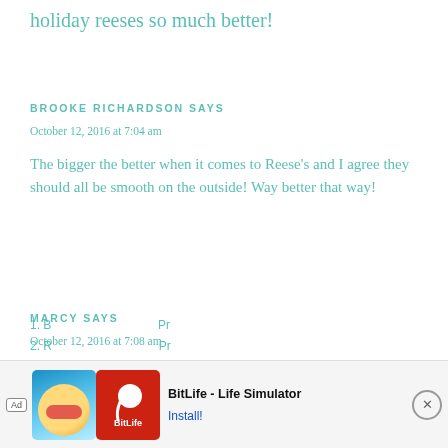holiday reeses so much better!
BROOKE RICHARDSON SAYS
October 12, 2016 at 7:04 am
The bigger the better when it comes to Reese's and I agree they should all be smooth on the outside! Way better that way!
MARCY SAYS
October 12, 2016 at 7:08 am
1. B... 2. R...
[Figure (screenshot): Advertisement banner for BitLife - Life Simulator app with Ad badge, game artwork, red logo, app name, and Install button with close X button]